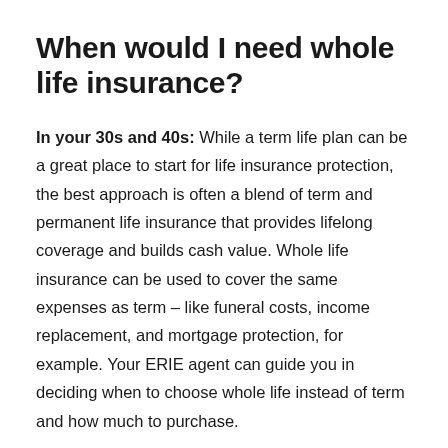When would I need whole life insurance?
In your 30s and 40s: While a term life plan can be a great place to start for life insurance protection, the best approach is often a blend of term and permanent life insurance that provides lifelong coverage and builds cash value. Whole life insurance can be used to cover the same expenses as term – like funeral costs, income replacement, and mortgage protection, for example. Your ERIE agent can guide you in deciding when to choose whole life instead of term and how much to purchase.